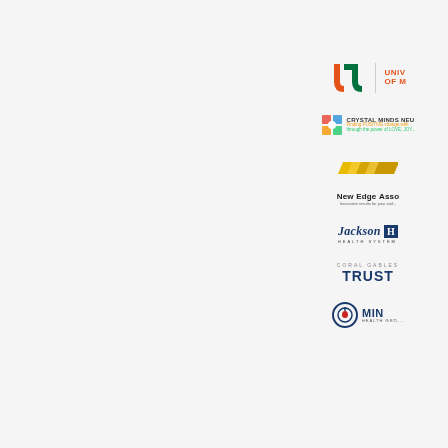[Figure (logo): University of Miami logo with orange and green U shape and text UNIVERSITY OF MIAMI]
[Figure (logo): Crystal Minds Neurology logo with colorful puzzle piece graphic and tagline]
[Figure (logo): New Edge Associates logo with gold chevron stripes and tagline Innovative results for your staff]
[Figure (logo): Jackson Health System logo in navy blue serif italic font]
[Figure (logo): Coral Gables Trust logo in navy blue bold text]
[Figure (logo): Mind Health logo with circular brain icon and navy text]